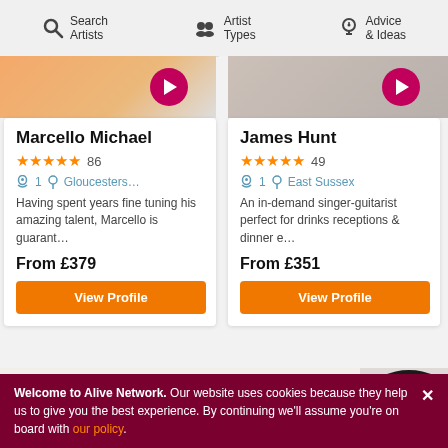Search Artists | Artist Types | Advice & Ideas
[Figure (screenshot): Artist profile photo for Marcello Michael with pink play button overlay]
[Figure (screenshot): Artist profile photo for James Hunt with pink play button overlay]
Marcello Michael
★★★★★ 86 | 1 | Gloucesters... | Having spent years fine tuning his amazing talent, Marcello is guarant... | From £379
James Hunt
★★★★★ 49 | 1 | East Sussex | An in-demand singer-guitarist perfect for drinks receptions & dinner e... | From £351
Beyond Helpful.
Welcome to Alive Network. Our website uses cookies because they help us to give you the best experience. By continuing we'll assume you're on board with our policy.